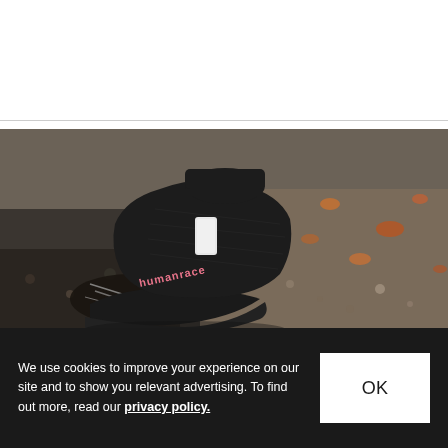[Figure (photo): Close-up photograph of a black high-top knit sneaker (Pharrell Williams x adidas Human Race football cleat) on a gravel/dirt surface with autumn leaves in the background. The shoe is black with pink 'humanrace' text branding on the side and a white tab at the heel.]
We use cookies to improve your experience on our site and to show you relevant advertising. To find out more, read our privacy policy.